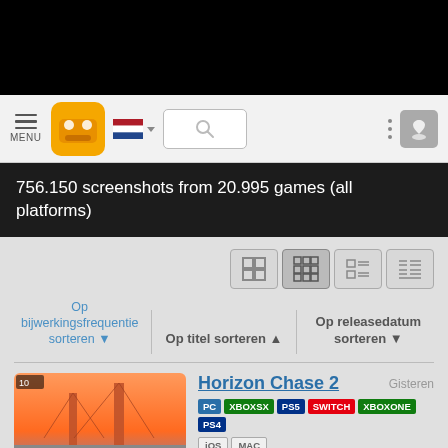[Figure (screenshot): Black top bar (notification area)]
[Figure (screenshot): Navigation bar with hamburger menu icon labeled MENU, orange game database logo, Dutch flag icon with dropdown, search box, vertical dots menu, and bookmark icon]
756.150 screenshots from 20.995 games (all platforms)
[Figure (screenshot): View toggle buttons: 4 layout options (2x2 grid, 3x3 grid, list with images, list without images)]
Op bijwerkingsfrequentie sorteren ▼
Op titel sorteren ▲
Op releasedatum sorteren ▼
[Figure (screenshot): Horizon Chase 2 game thumbnail showing colorful racing game with cars on bridge road scene]
Horizon Chase 2
Gisteren
PC XBOXSX PS5 SWITCH XBOXONE PS4
iOS MAC
# Arcade Autosport